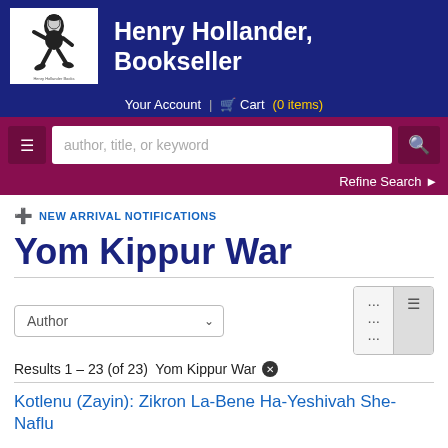Henry Hollander, Bookseller
Your Account | Cart (0 items)
author, title, or keyword
Refine Search
+ NEW ARRIVAL NOTIFICATIONS
Yom Kippur War
Author
Results 1 – 23 (of 23)  Yom Kippur War ✕
Kotlenu (Zayin): Zikron La-Bene Ha-Yeshivah She-Naflu